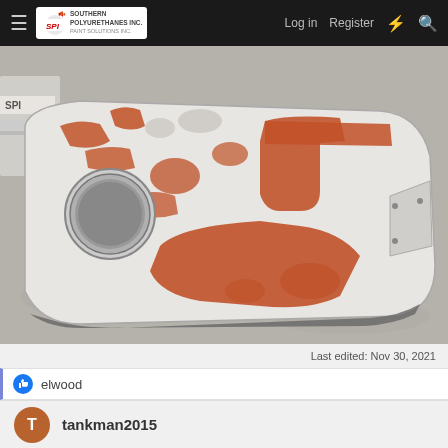SPI Southern Polyurethane Inc — Log in  Register
[Figure (photo): A motorcycle fuel tank or body panel lying on a concrete floor. The part is white/grey with large patches of reddish-orange primer/filler applied, showing bodywork repair in progress. A circular hole is visible on the side. An SPI branded box is partially visible in the background.]
Last edited: Nov 30, 2021
elwood
tankman2015